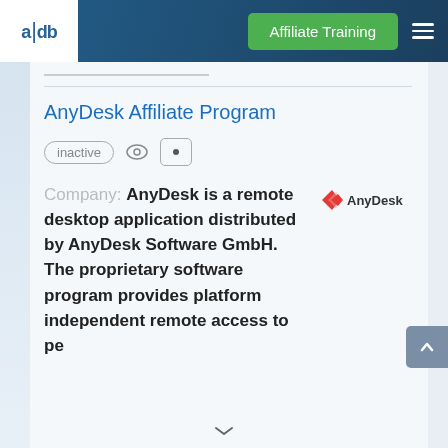a|db  Affiliate Training
AnyDesk Affiliate Program
inactive
Company: AnyDesk is a remote desktop application distributed by AnyDesk Software GmbH. The proprietary software program provides platform independent remote access to pe